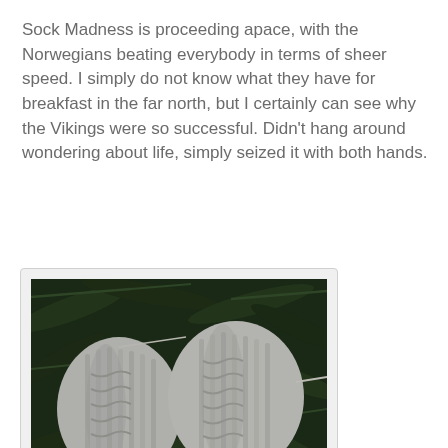Sock Madness is proceeding apace, with the Norwegians beating everybody in terms of sheer speed. I simply do not know what they have for breakfast in the far north, but I certainly can see why the Vikings were so successful. Didn't hang around wondering about life, simply seized it with both hands.
[Figure (photo): Two grey cable-knit socks or mittens laid on a bed of green pine/fir branches, with knitting needles still attached. The knitted items are light grey and show a cable knit pattern.]